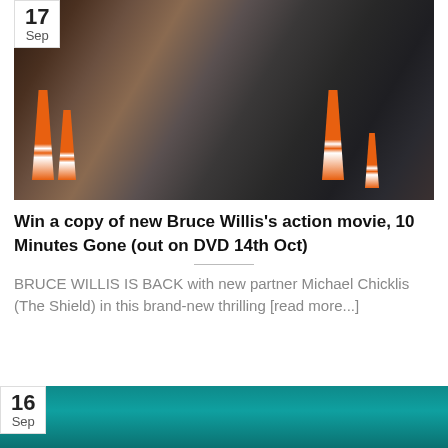[Figure (photo): Three people standing in a construction site with orange traffic cones, one person in a grey suit in the center, a woman with blonde hair on the left, and a bald man in dark clothing on the right.]
Win a copy of new Bruce Willis's action movie, 10 Minutes Gone (out on DVD 14th Oct)
BRUCE WILLIS IS BACK with new partner Michael Chicklis (The Shield) in this brand-new thrilling [read more...]
[Figure (photo): Partial view of a car side mirror with teal/turquoise background, date badge showing 16 Sep.]